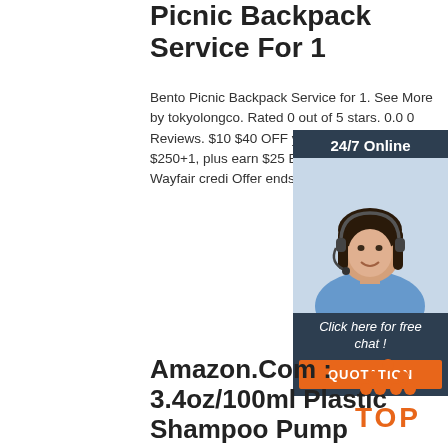Picnic Backpack Service For 1
Bento Picnic Backpack Service for 1. See More by tokyolongco. Rated 0 out of 5 stars. 0.0 0 Reviews. $10 $40 OFF your qualifying first $250+1, plus earn $25 Bonus Rewards with a Wayfair credi Offer ends 9/30. Free Shippin
[Figure (other): Advertisement widget with woman wearing headset, dark blue background, '24/7 Online' header, 'Click here for free chat!' text, and orange QUOTATION button]
Get Price
Amazon.Com : 3.4oz/100ml Plastic Shampoo Pump Bottles ...
[Figure (logo): Orange TOP logo with dots arranged in triangle pattern above bold orange 'TOP' text]